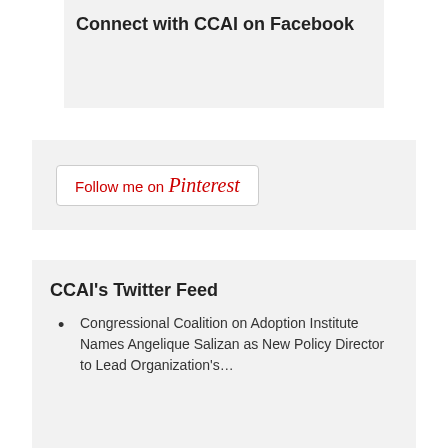Connect with CCAI on Facebook
[Figure (other): Facebook widget placeholder area with grey background]
[Figure (other): Pinterest follow button widget: 'Follow me on Pinterest']
CCAI's Twitter Feed
Congressional Coalition on Adoption Institute Names Angelique Salizan as New Policy Director to Lead Organization's...